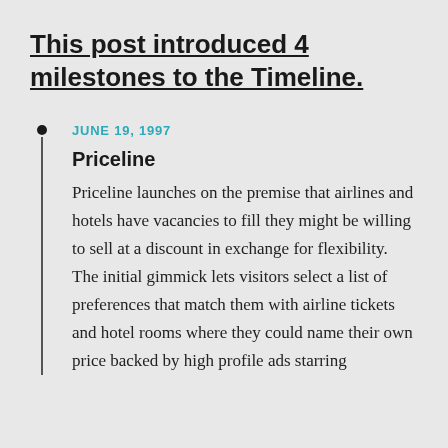This post introduced 4 milestones to the Timeline.
JUNE 19, 1997
Priceline
Priceline launches on the premise that airlines and hotels have vacancies to fill they might be willing to sell at a discount in exchange for flexibility. The initial gimmick lets visitors select a list of preferences that match them with airline tickets and hotel rooms where they could name their own price backed by high profile ads starring